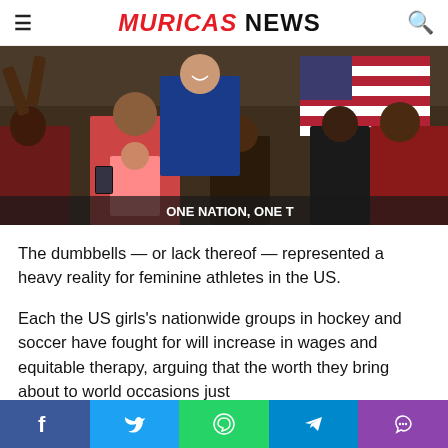MURICAS NEWS
[Figure (photo): Crowd of fans at a soccer/football event, including people in red US national team jerseys. A woman in blue holds up an American flag. A sign reads 'ONE NATION, ONE T...' at the bottom right.]
The dumbbells — or lack thereof — represented a heavy reality for feminine athletes in the US.
Each the US girls's nationwide groups in hockey and soccer have fought for will increase in wages and equitable therapy, arguing that the worth they bring about to world occasions just